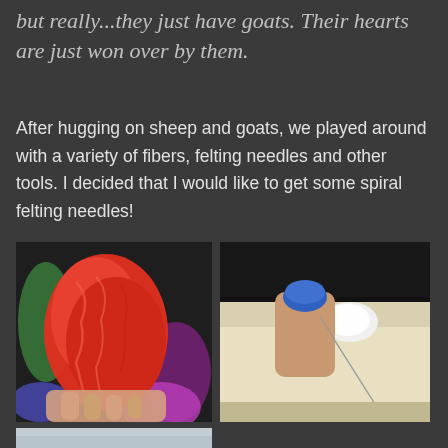but really...they just have goats. Their hearts are just won over by them.
After hugging on sheep and goats, we played around with a variety of fibers, felting needles and other tools. I decided that I would like to get some spiral felting needles!
[Figure (photo): A hand holding a large clump of red/orange fluffy fiber (wool), with colorful green, purple, and blue fibers visible in the background.]
[Figure (photo): A hand holding a felting needle with a thimble, needle going into a small white wool ball on a foam pad surface.]
[Figure (photo): Partial view of what appears to be a light blue or pale textile/fiber material, partially cut off at bottom of page.]